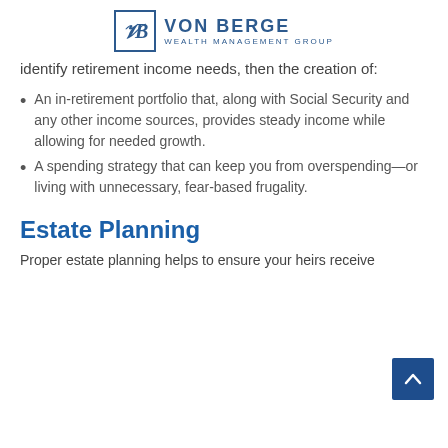VON BERGE WEALTH MANAGEMENT GROUP
identify retirement income needs, then the creation of:
An in-retirement portfolio that, along with Social Security and any other income sources, provides steady income while allowing for needed growth.
A spending strategy that can keep you from overspending—or living with unnecessary, fear-based frugality.
Estate Planning
Proper estate planning helps to ensure your heirs receive the...